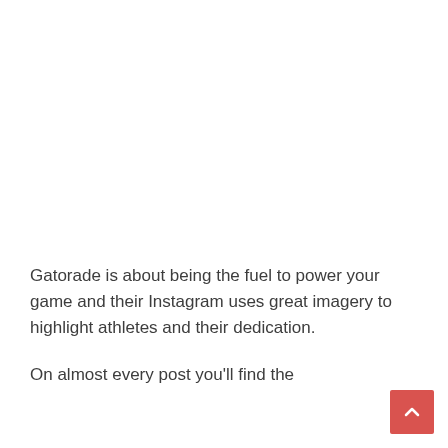Gatorade is about being the fuel to power your game and their Instagram uses great imagery to highlight athletes and their dedication.

On almost every post you'll find the